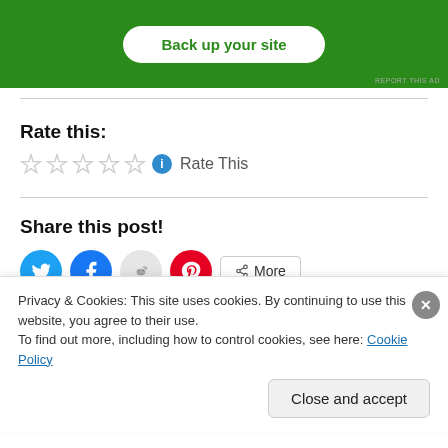[Figure (other): Green advertisement banner with white rounded button labeled 'Back up your site' and a small 'REPORT THIS AD' link at bottom right]
Rate this:
[Figure (other): Five empty star rating icons followed by a blue info circle icon and the text 'Rate This']
Share this post!
[Figure (other): Social share buttons: Twitter (blue bird), Facebook (blue f), Reddit (gray alien), Pinterest (red P), and a 'More' button with share icon]
Privacy & Cookies: This site uses cookies. By continuing to use this website, you agree to their use.
To find out more, including how to control cookies, see here: Cookie Policy
Close and accept